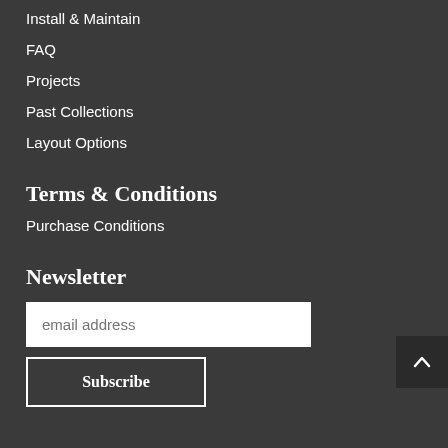Install & Maintain
FAQ
Projects
Past Collections
Layout Options
Terms & Conditions
Purchase Conditions
Newsletter
email address
Subscribe